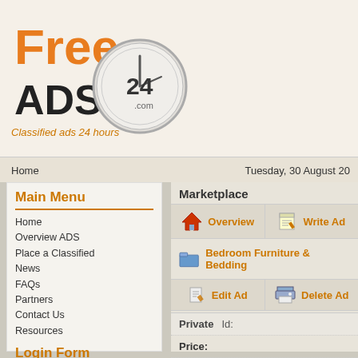[Figure (logo): FreeADS24.com logo with clock graphic and tagline 'Classified ads 24 hours']
Home    Tuesday, 30 August 20...
Main Menu
Home
Overview ADS
Place a Classified
News
FAQs
Partners
Contact Us
Resources
Login Form
Username
Password
Remember me
Login
Lost Password?
No account yet? Register
Marketplace
Overview
Write Ad
Bedroom Furniture & Bedding
Edit Ad
Delete Ad
Private
Id:
Price:
Contact: